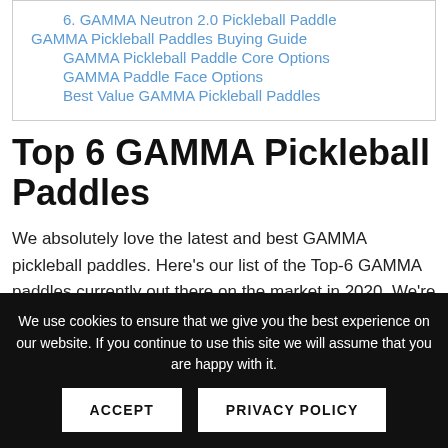6. GAMMA Neutron 2.0 Pickleball Paddle
GAMMA Pickleball Paddles Buying Guide
GAMMA Pickleball Paddle Core Options
GAMMA Paddle Face Options
Best Value GAMMA Pickleball Paddles
Top 6 GAMMA Pickleball Paddles
We absolutely love the latest and best GAMMA pickleball paddles. Here’s our list of the Top-6 GAMMA paddles currently out there on the market in 2020. We’re
We use cookies to ensure that we give you the best experience on our website. If you continue to use this site we will assume that you are happy with it.
ACCEPT   PRIVACY POLICY